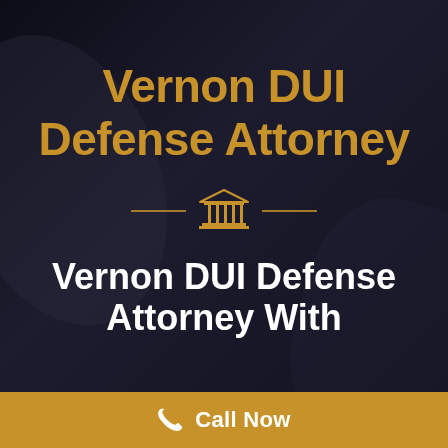Vernon DUI Defense Attorney
[Figure (illustration): Court/legal building icon — a classical pillared building (courthouse) with horizontal lines on each side, drawn in gold/tan color outline style]
Vernon DUI Defense Attorney With
Call Now